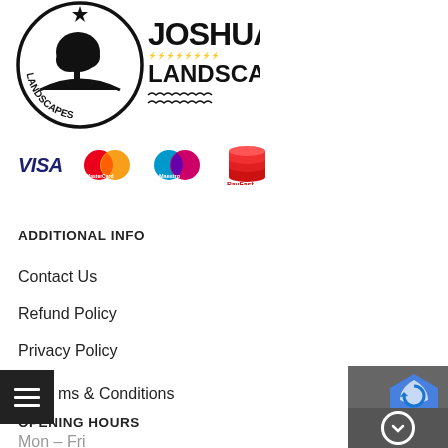[Figure (logo): Joshua Landscapes logo — circular black and white emblem with tree and landscaping tools, text 'JOSHUA LANDSCAPES']
[Figure (logo): Payment method logos: VISA, MasterCard, Maestro, PayFast]
ADDITIONAL INFO
Contact Us
Refund Policy
Privacy Policy
Terms & Conditions
OPENING HOURS
Mon – Fri